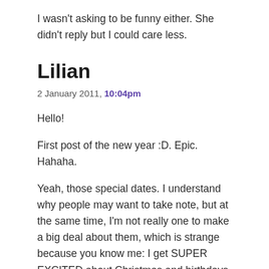I wasn't asking to be funny either. She didn't reply but I could care less.
Lilian
2 January 2011, 10:04pm
Hello!
First post of the new year :D. Epic. Hahaha.
Yeah, those special dates. I understand why people may want to take note, but at the same time, I'm not really one to make a big deal about them, which is strange because you know me: I get SUPER EXCITED about Christmas and birthdays and New